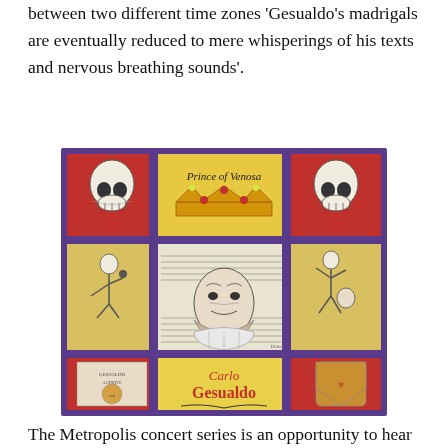between two different time zones 'Gesualdo's madrigals are eventually reduced to mere whisperings of his texts and nervous breathing sounds'.
[Figure (illustration): Album artwork for Carlo Gesualdo 'Prince of Venosa'. A grid of illustrated panels with a blue/purple border: top-left red panel with skull, top-center yellow panel with crown and text 'Prince of Venosa', top-right red panel with skull. Middle-left yellow panel with dancing figure, center panel with portrait of bearded man surrounded by musical score sheets, middle-right yellow panel with fighting figures. Bottom-left red panel with old book/manuscript, bottom-center yellow panel with text 'Carlo Gesualdo' and signature, bottom-right red panel with heraldic shield.]
The Metropolis concert series is an opportunity to hear